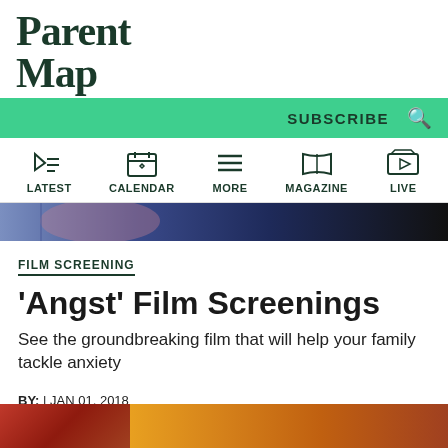ParentMap
SUBSCRIBE
LATEST | CALENDAR | MORE | MAGAZINE | LIVE
FILM SCREENING
'Angst' Film Screenings
See the groundbreaking film that will help your family tackle anxiety
BY: | JAN 01, 2018